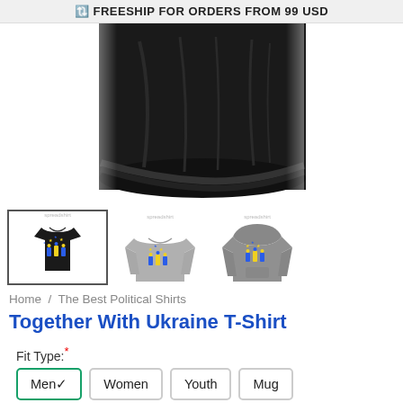🔃 FREESHIP FOR ORDERS FROM 99 USD
[Figure (photo): Close-up bottom portion of a black t-shirt on a model, showing the torso and hem area.]
[Figure (photo): Three product thumbnails: first is a black t-shirt with Ukraine design (selected with border), second is a gray long-sleeve shirt with Ukraine design, third is a gray hoodie with Ukraine design.]
Home / The Best Political Shirts
Together With Ukraine T-Shirt
Fit Type:*
Men (selected), Women, Youth, Mug
Style:*